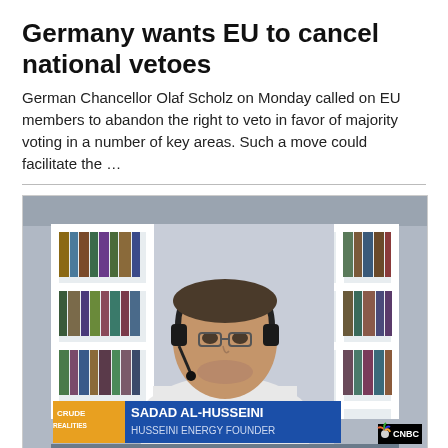Germany wants EU to cancel national vetoes
German Chancellor Olaf Scholz on Monday called on EU members to abandon the right to veto in favor of majority voting in a number of key areas. Such a move could facilitate the ...
[Figure (screenshot): CNBC 'Crude Realities' broadcast screenshot showing Sadad Al-Husseini, Husseini Energy Founder, wearing headphones and a white shirt, seated in front of a white bookshelf filled with books. A blue lower-third graphic reads 'SADAD AL-HUSSEINI / HUSSEINI ENERGY FOUNDER'. The CNBC peacock logo appears in the bottom right corner.]